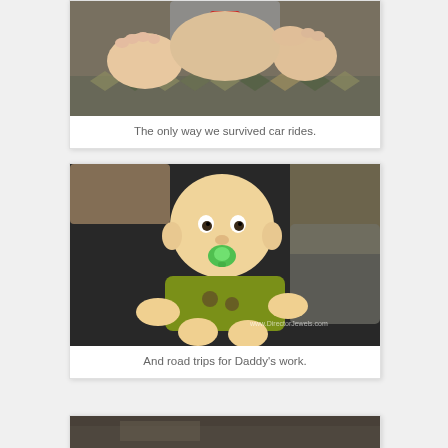[Figure (photo): Partial photo of a baby in a car seat, showing baby feet and legs, with a colorful patterned background visible at the bottom.]
The only way we survived car rides.
[Figure (photo): Photo of a baby sitting on a dark surface, wearing a green shirt, with a green pacifier in mouth. Watermark reads www.DirectorJewels.com]
And road trips for Daddy's work.
[Figure (photo): Partial photo at bottom of page, mostly cut off, showing a dark scene.]